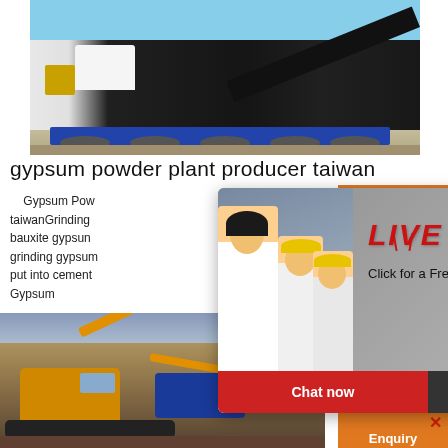[Figure (photo): Heavy machinery crusher/screening plant on a flatbed truck, blue sky background]
gypsum powder plant producer taiwan
Gypsum Powder Plant producer taiwanGrinding bauxite gypsum grinding gypsum put into cement Gypsum
[Figure (screenshot): Live chat popup overlay with engineers in hard hats, LIVE CHAT heading in red italic, Click for a Free Consultation subtext, Chat now and Chat later buttons]
[Figure (photo): Excavator working in a rocky terrain with blue machinery]
[Figure (infographic): Orange sidebar with images of crushing/grinding machines, Enjoy 3% discount banner, Click to Chat text, Enquiry button]